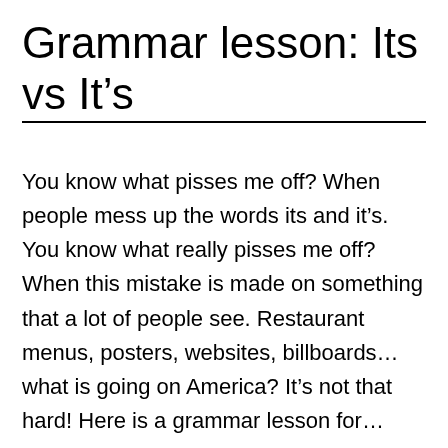Grammar lesson: Its vs It's
You know what pisses me off? When people mess up the words its and it's. You know what really pisses me off? When this mistake is made on something that a lot of people see. Restaurant menus, posters, websites, billboards… what is going on America? It's not that hard! Here is a grammar lesson for…
Continue reading